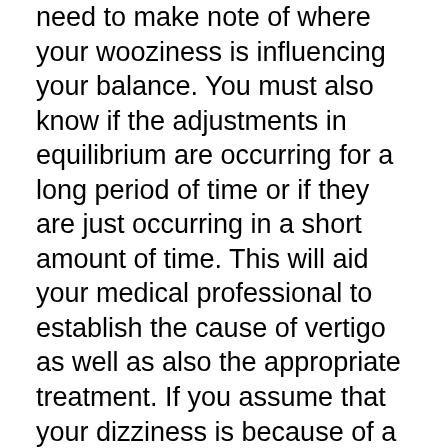need to make note of where your wooziness is influencing your balance. You must also know if the adjustments in equilibrium are occurring for a long period of time or if they are just occurring in a short amount of time. This will aid your medical professional to establish the cause of vertigo as well as also the appropriate treatment. If you assume that your dizziness is because of a lack of balance, you need to consult your doctor. Your health care professional will certainly have the ability to supply you with important info concerning vertigo as well as exactly how you can manage the symptoms.
In order to establish the specific root cause of vertigo, your healthcare professional will probably have you go through an extensive